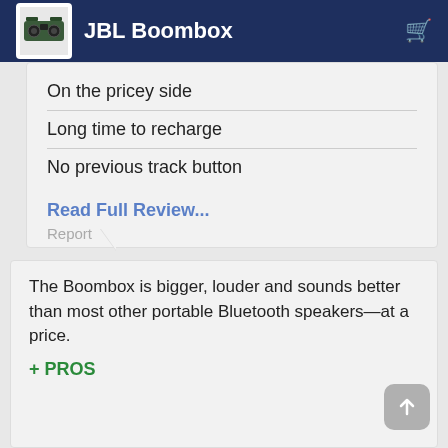JBL Boombox
On the pricey side
Long time to recharge
No previous track button
Read Full Review...
Report
[Figure (logo): Techaeris logo — dark circular bird/eagle design on black background]
Techaeris
techaeris.com
The Boombox is bigger, louder and sounds better than most other portable Bluetooth speakers—at a price.
+ PROS